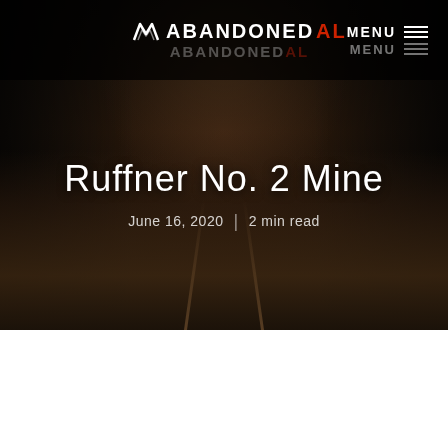ABANDONED AL  MENU
[Figure (photo): Dark mine tunnel interior with old rail tracks on rocky floor, stone walls narrowing to a vanishing point in the darkness]
Ruffner No. 2 Mine
June 16, 2020 | 2 min read